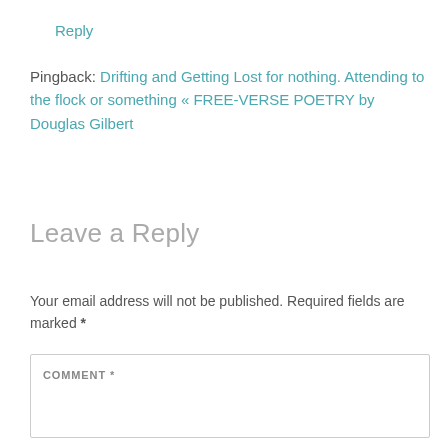Reply
Pingback: Drifting and Getting Lost for nothing. Attending to the flock or something « FREE-VERSE POETRY by Douglas Gilbert
Leave a Reply
Your email address will not be published. Required fields are marked *
COMMENT *